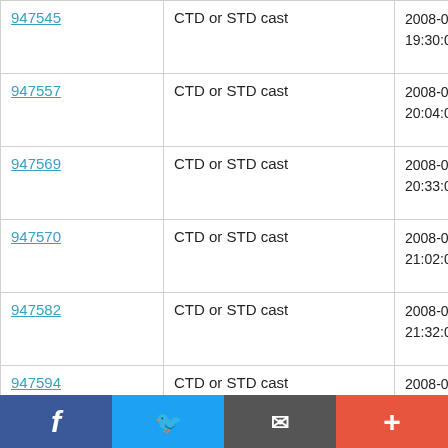| ID | Type | Date |
| --- | --- | --- |
| 947545 | CTD or STD cast | 2008-0
19:30:0 |
| 947557 | CTD or STD cast | 2008-0
20:04:0 |
| 947569 | CTD or STD cast | 2008-0
20:33:0 |
| 947570 | CTD or STD cast | 2008-0
21:02:0 |
| 947582 | CTD or STD cast | 2008-0
21:32:0 |
| 947594 | CTD or STD cast | 2008-0
22:01:0 |
| 947601 | CTD or STD cast | 2008-0
22:30:0 |